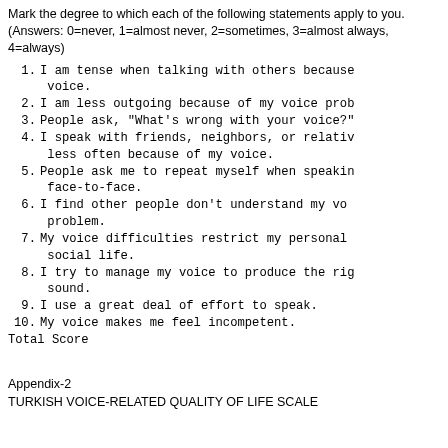Mark the degree to which each of the following statements apply to you. (Answers: 0=never, 1=almost never, 2=sometimes, 3=almost always, 4=always)
1. I am tense when talking with others because of my voice.
2. I am less outgoing because of my voice prob...
3. People ask, "What's wrong with your voice?"
4. I speak with friends, neighbors, or relatives less often because of my voice.
5. People ask me to repeat myself when speaking face-to-face.
6. I find other people don't understand my voice problem.
7. My voice difficulties restrict my personal and social life.
8. I try to manage my voice to produce the right sound.
9. I use a great deal of effort to speak.
10. My voice makes me feel incompetent.
Total Score
Appendix-2
TURKISH VOICE-RELATED QUALITY OF LIFE SCALE